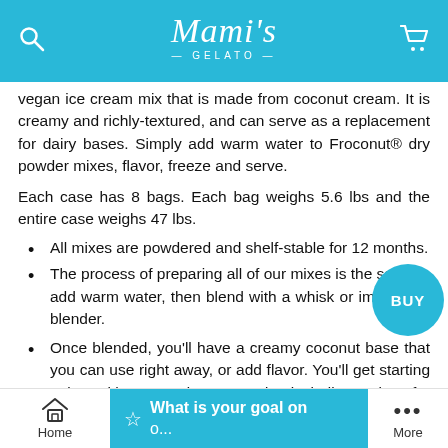Mami's GELATO
vegan ice cream mix that is made from coconut cream. It is creamy and richly-textured, and can serve as a replacement for dairy bases. Simply add warm water to Froconut® dry powder mixes, flavor, freeze and serve.
Each case has 8 bags. Each bag weighs 5.6 lbs and the entire case weighs 47 lbs.
All mixes are powdered and shelf-stable for 12 months.
The process of preparing all of our mixes is the same—add warm water, then blend with a whisk or immersion blender.
Once blended, you'll have a creamy coconut base that you can use right away, or add flavor. You'll get starting points with any product you order, including recipes for vanilla-chip, coffee, and a variety of fruit flavors.
Home   What is your goal on o...   More